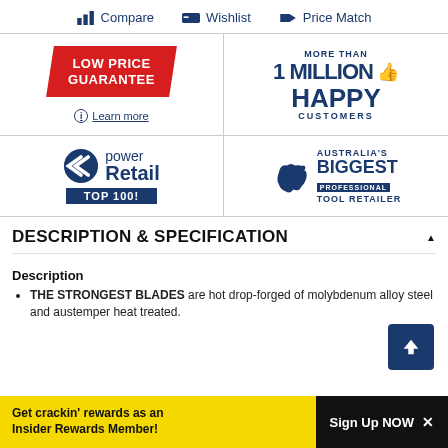Compare | Wishlist | Price Match
[Figure (logo): Low Price Guarantee badge with red parallelogram shape and 'Learn more' link below]
[Figure (logo): More Than 1 Million Happy Customers badge in blue and white]
[Figure (logo): Power Retail Top 100 badge with blue chevron logo]
[Figure (logo): Australia's Biggest Professional Tool Retailer badge with map of Australia]
DESCRIPTION & SPECIFICATION
Description
THE STRONGEST BLADES are hot drop-forged of molybdenum alloy steel and austemper heat treated.
Get crackin' rewards as an Insider Rewards Member! Sign Up NOW ×